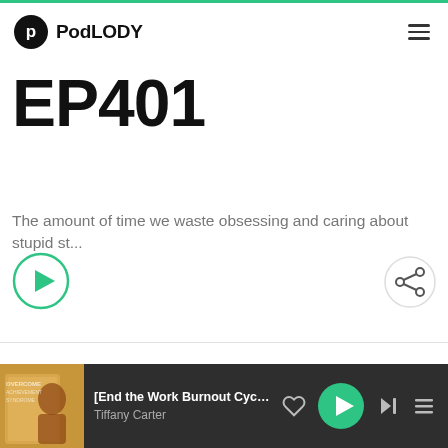PodLODY
EP401
The amount of time we waste obsessing and caring about stupid st...
[Figure (other): Green circle play button icon]
[Figure (other): Share button icon (circle with share symbol)]
[Figure (other): Bottom podcast player bar showing: [End the Work Burnout Cycle] No B... by Tiffany Carter, with heart, play, next, and menu controls]